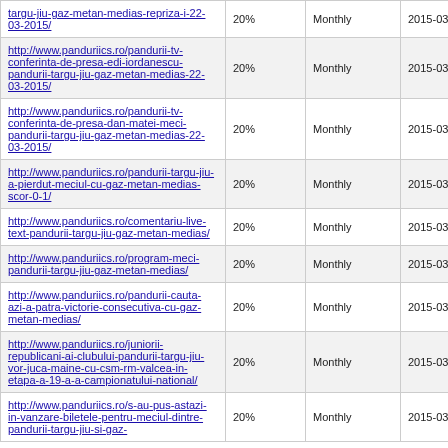| URL | Priority | Change Frequency | Last Modified |
| --- | --- | --- | --- |
| targu-jiu-gaz-metan-medias-repriza-i-22-03-2015/ | 20% | Monthly | 2015-03-22 17:38 |
| http://www.panduriics.ro/pandurii-tv-conferinta-de-presa-edi-iordanescu-pandurii-targu-jiu-gaz-metan-medias-22-03-2015/ | 20% | Monthly | 2015-03-22 17:13 |
| http://www.panduriics.ro/pandurii-tv-conferinta-de-presa-dan-matei-meci-pandurii-targu-jiu-gaz-metan-medias-22-03-2015/ | 20% | Monthly | 2015-03-22 16:49 |
| http://www.panduriics.ro/pandurii-targu-jiu-a-pierdut-meciul-cu-gaz-metan-medias-scor-0-1/ | 20% | Monthly | 2015-03-22 17:17 |
| http://www.panduriics.ro/comentariu-live-text-pandurii-targu-jiu-gaz-metan-medias/ | 20% | Monthly | 2015-03-22 17:59 |
| http://www.panduriics.ro/program-meci-pandurii-targu-jiu-gaz-metan-medias/ | 20% | Monthly | 2015-03-24 14:38 |
| http://www.panduriics.ro/pandurii-cauta-azi-a-patra-victorie-consecutiva-cu-gaz-metan-medias/ | 20% | Monthly | 2015-03-22 11:00 |
| http://www.panduriics.ro/juniorii-republicani-ai-clubului-pandurii-targu-jiu-vor-juca-maine-cu-csm-rm-valcea-in-etapa-a-19-a-a-campionatului-national/ | 20% | Monthly | 2015-03-22 11:51 |
| http://www.panduriics.ro/s-au-pus-astazi-in-vanzare-biletele-pentru-meciul-dintre-pandurii-targu-jiu-si-gaz-... | 20% | Monthly | 2015-03-21 14:57 |